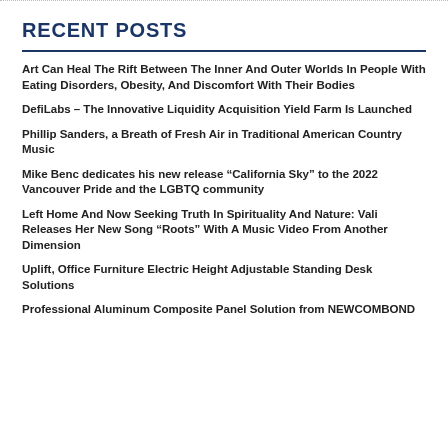RECENT POSTS
Art Can Heal The Rift Between The Inner And Outer Worlds In People With Eating Disorders, Obesity, And Discomfort With Their Bodies
DefiLabs – The Innovative Liquidity Acquisition Yield Farm Is Launched
Phillip Sanders, a Breath of Fresh Air in Traditional American Country Music
Mike Benc dedicates his new release “California Sky” to the 2022 Vancouver Pride and the LGBTQ community
Left Home And Now Seeking Truth In Spirituality And Nature: Vali Releases Her New Song “Roots” With A Music Video From Another Dimension
Uplift, Office Furniture Electric Height Adjustable Standing Desk Solutions
Professional Aluminum Composite Panel Solution from NEWCOMBOND